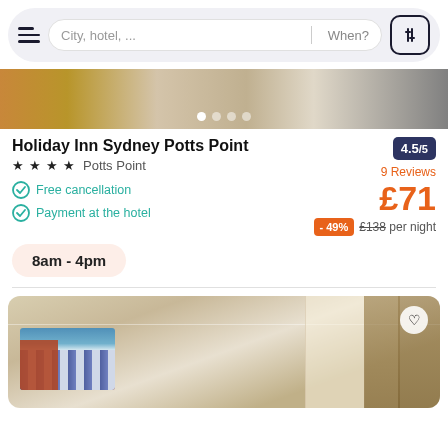City, hotel, ...  When?
[Figure (photo): Hotel room image strip showing bed area with carpet floor and wooden furniture]
Holiday Inn Sydney Potts Point
4.5/5
9 Reviews
★★★★ Potts Point
Free cancellation
Payment at the hotel
£71
-49%  £138 per night
8am - 4pm
[Figure (photo): Hotel room interior with artwork on wall showing city/stadium scene, window with curtains, beige walls]